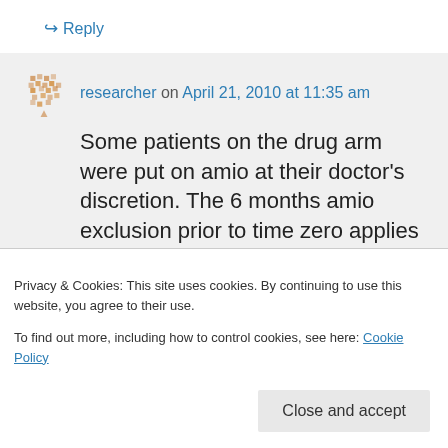↪ Reply
researcher on April 21, 2010 at 11:35 am
Some patients on the drug arm were put on amio at their doctor's discretion. The 6 months amio exclusion prior to time zero applies as per protocol. So that comparison between patients who failed AAD without amio followed by ablation(s) and patients
Privacy & Cookies: This site uses cookies. By continuing to use this website, you agree to their use.
To find out more, including how to control cookies, see here: Cookie Policy
Close and accept